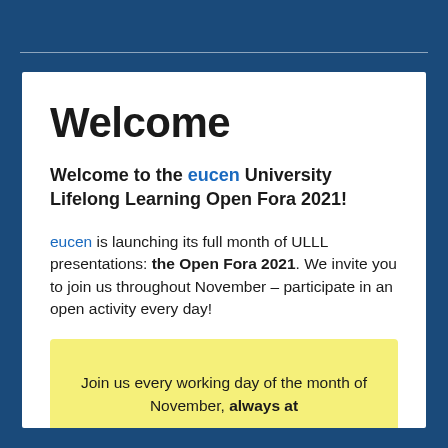Welcome
Welcome to the eucen University Lifelong Learning Open Fora 2021!
eucen is launching its full month of ULLL presentations: the Open Fora 2021. We invite you to join us throughout November – participate in an open activity every day!
Join us every working day of the month of November, always at